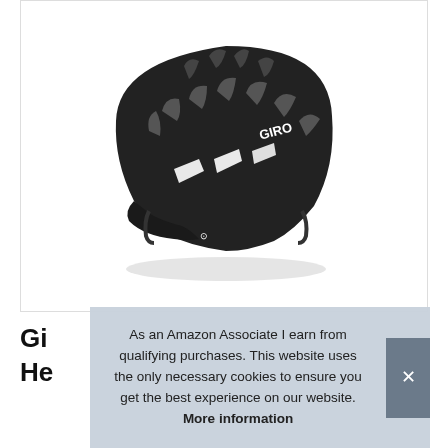[Figure (photo): A black Giro cycling/bicycle helmet with multiple ventilation slots, shown from a front-side angle on a white background. The Giro logo and brand name are visible on the side.]
Gi
He
As an Amazon Associate I earn from qualifying purchases. This website uses the only necessary cookies to ensure you get the best experience on our website. More information